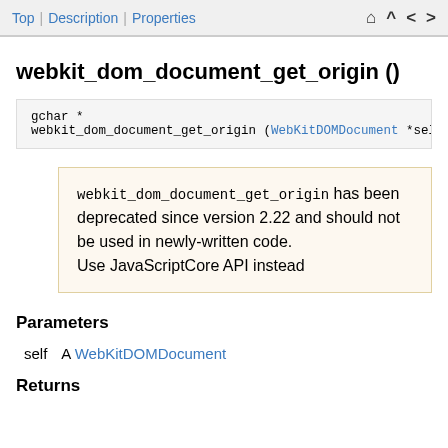Top | Description | Properties
webkit_dom_document_get_origin ()
gchar *
webkit_dom_document_get_origin (WebKitDOMDocument *self)
webkit_dom_document_get_origin has been deprecated since version 2.22 and should not be used in newly-written code. Use JavaScriptCore API instead
Parameters
self   A WebKitDOMDocument
Returns